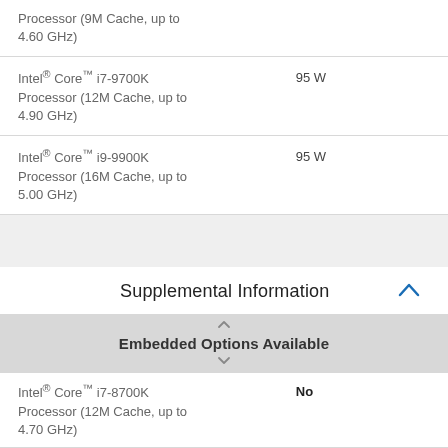| Processor | TDP |
| --- | --- |
| Processor (9M Cache, up to 4.60 GHz) |  |
| Intel® Core™ i7-9700K Processor (12M Cache, up to 4.90 GHz) | 95 W |
| Intel® Core™ i9-9900K Processor (16M Cache, up to 5.00 GHz) | 95 W |
Supplemental Information
| Processor | Embedded Options Available |
| --- | --- |
| Intel® Core™ i7-8700K Processor (12M Cache, up to 4.70 GHz) | No |